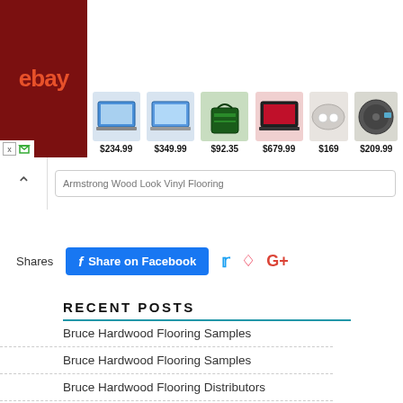[Figure (screenshot): eBay advertisement banner showing laptop, tools, and electronics products with prices: $234.99, $349.99, $92.35, $679.99, $169, $209.99]
Armstrong Wood Look Vinyl Flooring
Shares  Share on Facebook  [Twitter] [Pinterest] [Google+]
RECENT POSTS
Bruce Hardwood Flooring Samples
Bruce Hardwood Flooring Samples
Bruce Hardwood Flooring Distributors
Bruce Hardwood Flooring Distributors
Bruce Hardwood Flooring Dealers
Bruce Hardwood Flooring Dealers